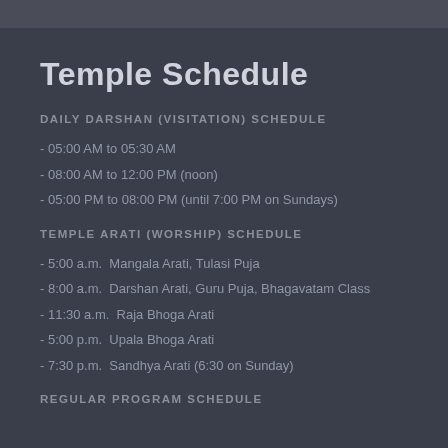Temple Schedule
DAILY DARSHAN (VISITATION) SCHEDULE
- 05:00 AM to 05:30 AM
- 08:00 AM to 12:00 PM (noon)
- 05:00 PM to 08:00 PM (until 7:00 PM on Sundays)
TEMPLE ARATI (WORSHIP) SCHEDULE
- 5:00 a.m.  Mangala Arati, Tulasi Puja
- 8:00 a.m.  Darshan Arati, Guru Puja, Bhagavatam Class
- 11:30 a.m.  Raja Bhoga Arati
- 5:00 p.m.  Upala Bhoga Arati
- 7:30 p.m.  Sandhya Arati (6:30 on Sunday)
REGULAR PROGRAM SCHEDULE